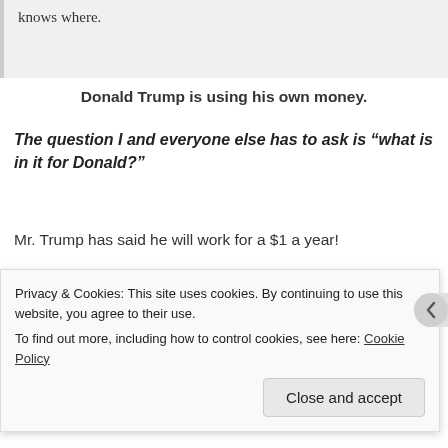knows where.
Donald Trump is using his own money.
The question I and everyone else has to ask is “what is in it for Donald?”
Mr. Trump has said he will work for a $1 a year!
I for one like the idea of someone that is not in the pocket of the others.
Now the people in the house and the senate are still in the
Privacy & Cookies: This site uses cookies. By continuing to use this website, you agree to their use.
To find out more, including how to control cookies, see here: Cookie Policy